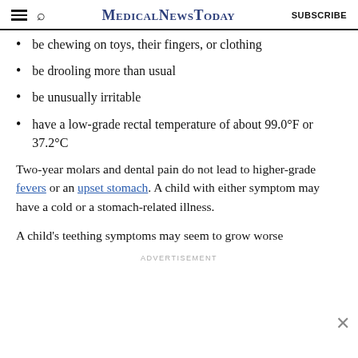MedicalNewsToday | SUBSCRIBE
be chewing on toys, their fingers, or clothing
be drooling more than usual
be unusually irritable
have a low-grade rectal temperature of about 99.0°F or 37.2°C
Two-year molars and dental pain do not lead to higher-grade fevers or an upset stomach. A child with either symptom may have a cold or a stomach-related illness.
A child's teething symptoms may seem to grow worse